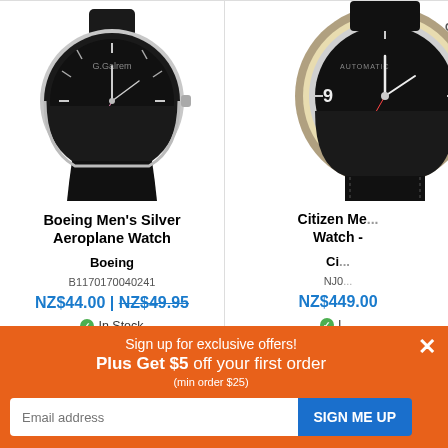[Figure (photo): Boeing Men's Silver Aeroplane Watch product photo — black dial watch with silver case and black leather strap on white background]
Boeing Men's Silver Aeroplane Watch
Boeing
B1170170040241
NZ$44.00 | NZ$49.95
In Stock
[Figure (photo): Citizen Men's watch product photo — black dial watch with beige bezel and black strap, cropped on right side]
Citizen Me... Watch -
Ci...
NJ0...
NZ$449.00
In Stock
Order by 4 and w...
Sign up for exclusive offers!
Plus Get $5 off your first order
(min order $25)